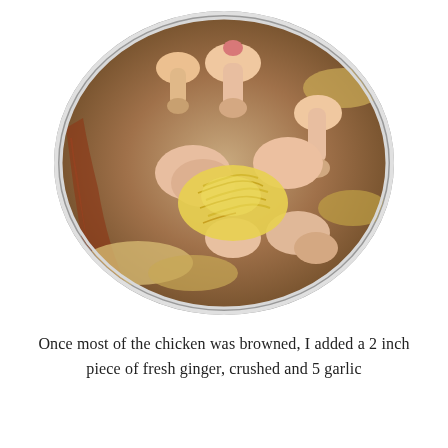[Figure (photo): Overhead view inside a large stainless steel pot containing raw chicken pieces (legs, thighs, wings) that have been partially browned, with a pile of grated or shredded fresh ginger in the center and visible cooked onion slices, with reddish-brown spice residue on the sides of the pot.]
Once most of the chicken was browned, I added a 2 inch piece of fresh ginger, crushed and 5 garlic